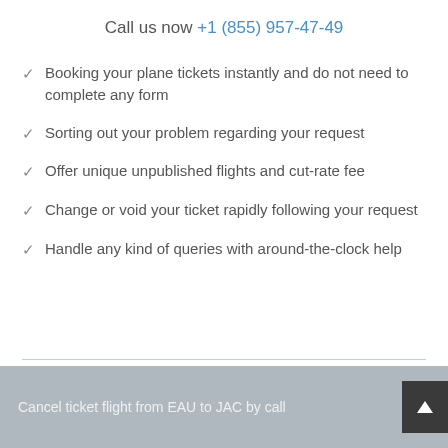Call us now +1 (855) 957-47-49
Booking your plane tickets instantly and do not need to complete any form
Sorting out your problem regarding your request
Offer unique unpublished flights and cut-rate fee
Change or void your ticket rapidly following your request
Handle any kind of queries with around-the-clock help
Cancel ticket flight from EAU to JAC by call